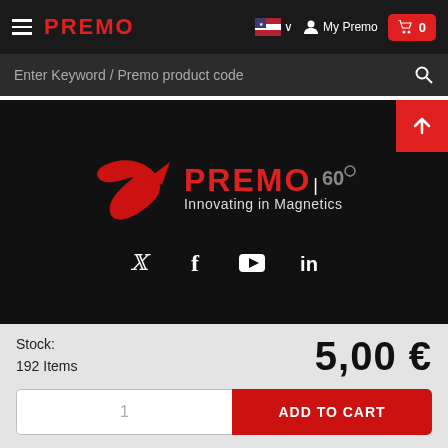PREMO — Navigation bar with hamburger menu, logo, language selector, My Premo, cart (0)
Enter Keyword / Premo product code
[Figure (logo): PREMO brand logo with arrow icon and tagline 'Innovating in Magnetics' on dark background, with scroll-to-top red button]
[Figure (infographic): Social media icons row: Twitter, Facebook, YouTube, LinkedIn on dark background]
Stock:
192 Items
5,00 €
1
ADD TO CART